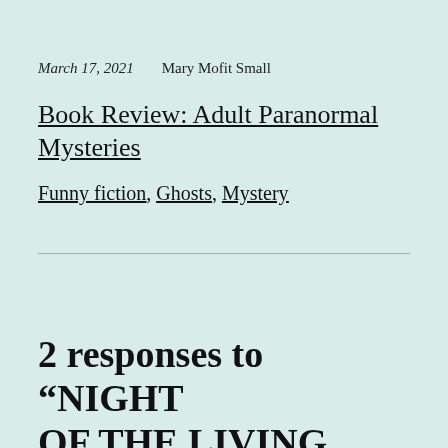March 17, 2021   Mary Mofit Small
Book Review: Adult Paranormal Mysteries
Funny fiction, Ghosts, Mystery
2 responses to “NIGHT OF THE LIVING DEED: